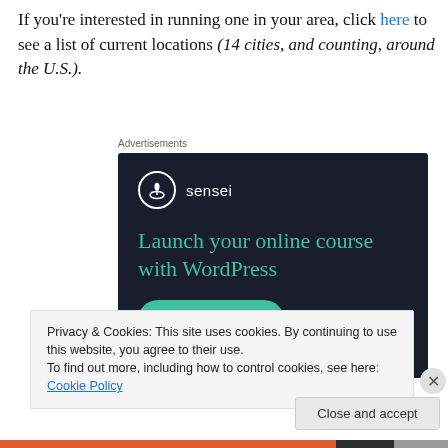If you're interested in running one in your area, click here to see a list of current locations (14 cities, and counting, around the U.S.).
Advertisements
[Figure (screenshot): Sensei advertisement banner with dark background (#1a1d2e), Sensei logo (bonsai tree in circle), headline 'Launch your online course with WordPress' in teal, and a teal 'Learn More' pill button.]
Privacy & Cookies: This site uses cookies. By continuing to use this website, you agree to their use.
To find out more, including how to control cookies, see here: Cookie Policy